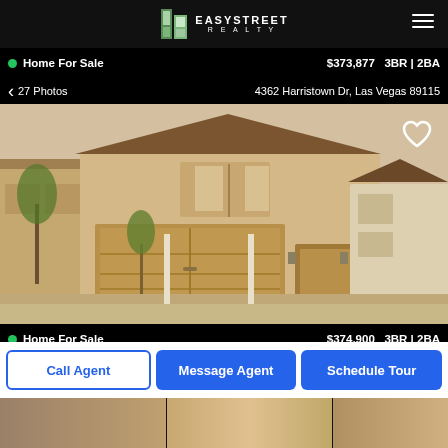[Figure (logo): EasyStreet Realty logo with stylized building icon]
Home For Sale  $373,877  3BR | 2BA
27 Photos  4362 Harristown Dr, Las Vegas 89115
[Figure (photo): Exterior photo of a two-story stucco home with two-car garage, desert landscaping, Las Vegas]
Home For Sale  $374,900  3BR | 2BA
5 Photos  2223 Langmore St, Las Vegas 89115
[Figure (photo): Partial exterior photo of a third home listing]
Call Agent
Message Agent
Schedule Tour
[Figure (photo): Partial exterior photo of a fourth home listing]